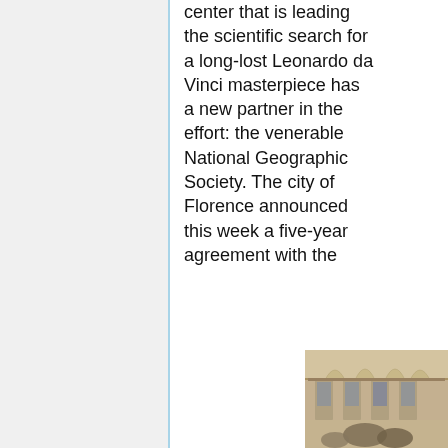center that is leading the scientific search for a long-lost Leonardo da Vinci masterpiece has a new partner in the effort: the venerable National Geographic Society. The city of Florence announced this week a five-year agreement with the
[Figure (photo): Interior view of an ornate building with arched windows and decorative ceiling, people visible in foreground]